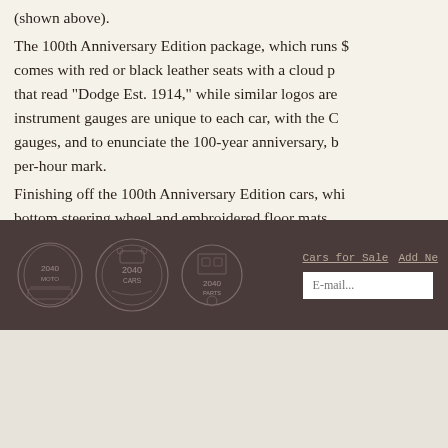(shown above). The 100th Anniversary Edition package, which runs $ comes with red or black leather seats with a cloud p that read "Dodge Est. 1914," while similar logos are instrument gauges are unique to each car, with the G gauges, and to enunciate the 100-year anniversary, b per-hour mark. Finishing off the 100th Anniversary Edition cars, whi bottom steering wheel and embroidered floor mats these commemorative models.
[Figure (logo): Three circular badge logos for 2040 Moto, 2040 Cars, and 2040 Parts displayed in the footer bar]
Cars for Sale  Add Ne...  E-mail...